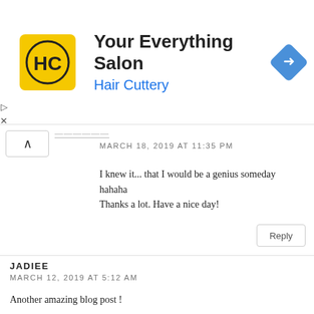[Figure (screenshot): Hair Cuttery ad banner with yellow HC logo, title 'Your Everything Salon', subtitle 'Hair Cuttery', and blue diamond navigation icon]
MARCH 18, 2019 AT 11:35 PM
I knew it... that I would be a genius someday hahaha
Thanks a lot. Have a nice day!
Reply
JADIEE
MARCH 12, 2019 AT 5:12 AM
Another amazing blog post !
I loved this
jadieegosh
Reply
AY HITE